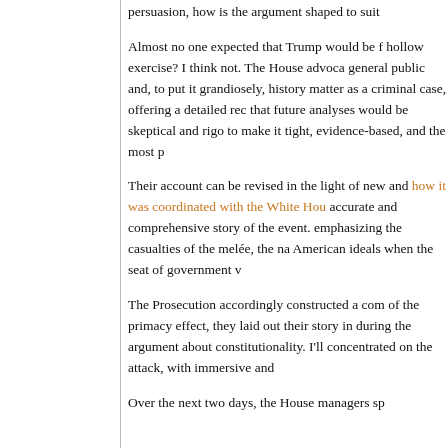persuasion, how is the argument shaped to suit
Almost no one expected that Trump would be f hollow exercise? I think not. The House advoca general public and, to put it grandiosely, history matter as a criminal case, offering a detailed rec that future analyses would be skeptical and rigo to make it tight, evidence-based, and the most p
Their account can be revised in the light of new and how it was coordinated with the White Hou accurate and comprehensive story of the event. emphasizing the casualties of the melée, the na American ideals when the seat of government v
The Prosecution accordingly constructed a com of the primacy effect, they laid out their story in during the argument about constitutionality. I'll concentrated on the attack, with immersive and
Over the next two days, the House managers sp